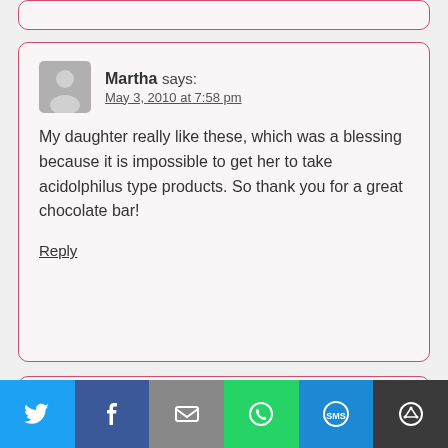Martha says: May 3, 2010 at 7:58 pm
My daughter really like these, which was a blessing because it is impossible to get her to take acidolphilus type products. So thank you for a great chocolate bar!
Reply
Thomas Mcgilvery says: